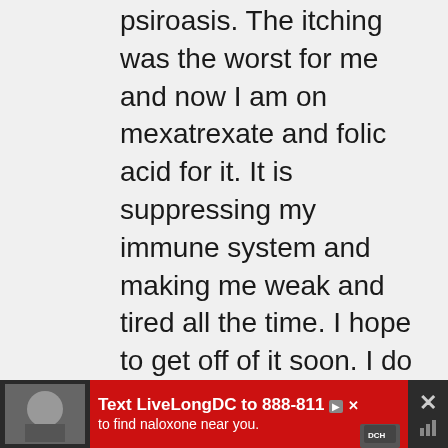psiroasis. The itching was the worst for me and now I am on mexatrexate and folic acid for it. It is suppressing my immune system and making me weak and tired all the time. I hope to get off of it soon. I do chlorphyll once a day and pro biotics that are 20 billion per capsule. coconut oil keeps me lubricated and life is better now. I must take melatenon to sleep 10mg. with valerian root, stress pills, and benadryl. then I can sleep thru the night without getting up
[Figure (other): Advertisement banner at bottom: red background with text 'Text LiveLongDC to 888-811 to find naloxone near you.' with DCH logo and close button]